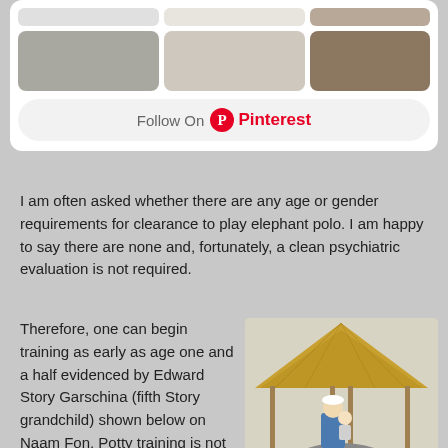[Figure (screenshot): Pinterest widget with color swatches (gray, light gray, tan/brown) and a 'Follow On Pinterest' button]
I am often asked whether there are any age or gender requirements for clearance to play elephant polo. I am happy to say there are none and, fortunately, a clean psychiatric evaluation is not required.
Therefore, one can begin training as early as age one and a half evidenced by Edward Story Garschina (fifth Story grandchild) shown below on Naam Fon. Potty training is not required and the elephant is not so fussy about such matters.
[Figure (photo): Photo of a person holding a baby sitting on top of an elephant under a thatched structure, with green fields in the background]